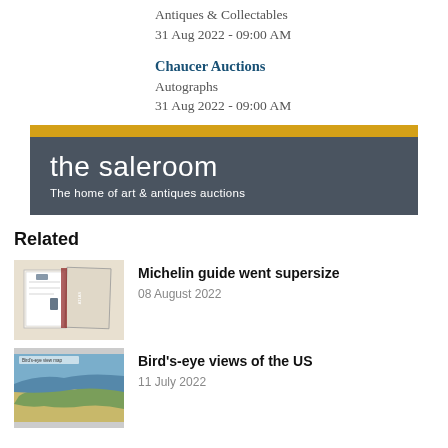Antiques & Collectables
31 Aug 2022 - 09:00 AM
Chaucer Auctions
Autographs
31 Aug 2022 - 09:00 AM
[Figure (logo): The saleroom logo banner with yellow top stripe, dark gray background, white text reading 'the saleroom' and subtitle 'The home of art & antiques auctions']
Related
[Figure (photo): Photo of open books/maps with handwritten notes and items, related to Michelin guide article]
Michelin guide went supersize
08 August 2022
[Figure (photo): Photo of a colorful vintage bird's-eye view map of the US coastline]
Bird's-eye views of the US
11 July 2022